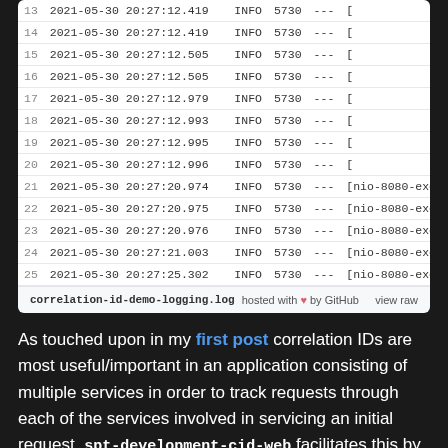| # | timestamp | level | pid | --- | thread | truncated |
| --- | --- | --- | --- | --- | --- | --- |
| 13 | 2021-05-30 20:27:12.419 | INFO | 5730 | --- | [ | n |
| 14 | 2021-05-30 20:27:12.419 | INFO | 5730 | --- | [ | n |
| 15 | 2021-05-30 20:27:12.505 | INFO | 5730 | --- | [ | n |
| 16 | 2021-05-30 20:27:12.505 | INFO | 5730 | --- | [ | n |
| 17 | 2021-05-30 20:27:12.979 | INFO | 5730 | --- | [ | n |
| 18 | 2021-05-30 20:27:12.993 | INFO | 5730 | --- | [ | n |
| 19 | 2021-05-30 20:27:12.995 | INFO | 5730 | --- | [ | n |
| 20 | 2021-05-30 20:27:12.996 | INFO | 5730 | --- | [ | n |
| 21 | 2021-05-30 20:27:20.974 | INFO | 5730 | --- | [nio-8080-exe |  |
| 22 | 2021-05-30 20:27:20.975 | INFO | 5730 | --- | [nio-8080-exe |  |
| 23 | 2021-05-30 20:27:20.976 | INFO | 5730 | --- | [nio-8080-exe |  |
| 24 | 2021-05-30 20:27:21.003 | INFO | 5730 | --- | [nio-8080-exe |  |
| 25 | 2021-05-30 20:27:25.302 | INFO | 5730 | --- | [nio-8080-exe |  |
correlation-id-demo-logging.log hosted with ♥ by GitHub  view raw
As touched upon in my first post correlation IDs are most useful/important in an application consisting of multiple services in order to track requests through each of the services involved in servicing an initial request. spt-development-cid-web facilitates this by